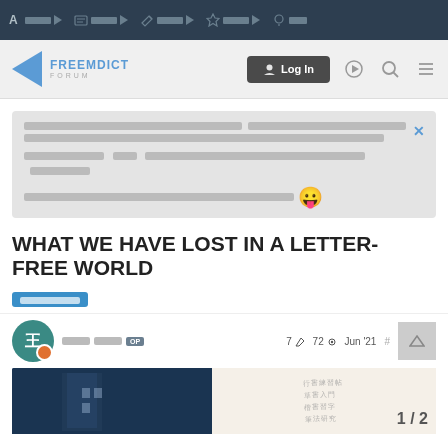Top navigation bar with icons
[Figure (screenshot): FreeDict Forum logo and navigation bar with Log In button]
Banner notification text in Thai/non-Latin script with close button and emoji
WHAT WE HAVE LOST IN A LETTER-FREE WORLD
Category tag (in non-Latin script)
Username OP  7 edits  72 views  Jun '21  #
[Figure (photo): Left: dark blue architectural photo; Right: handwriting on paper with pagination 1/2]